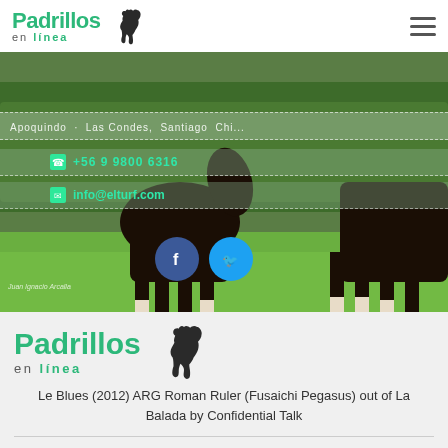Padrillos en línea
[Figure (photo): A dark bay horse standing on grass with green hedge background. Contact information overlaid: location Apoquindo, Las Condes, Santiago, Chile; phone +56 9 9800 6316; email info@elturf.com. Social media icons for Facebook and Twitter.]
Juan Ignacio Arcalla
[Figure (logo): Padrillos en línea logo with horse silhouette]
Le Blues (2012) ARG Roman Ruler (Fusaichi Pegasus) out of La Balada by Confidential Talk
© 2004 - 2022 Copyright elTurf.com. All rights reserved